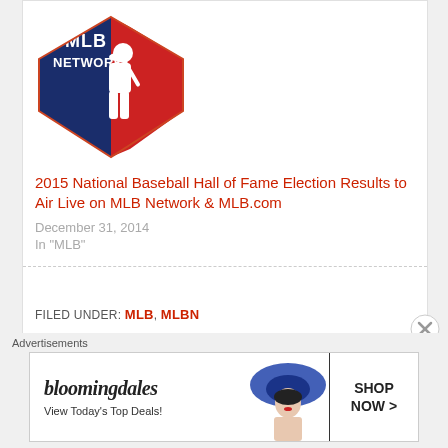[Figure (logo): MLB Network logo — navy blue shield/diamond shape with red accent and white batter silhouette, text 'MLB NETWORK' in white]
2015 National Baseball Hall of Fame Election Results to Air Live on MLB Network & MLB.com
December 31, 2014
In "MLB"
FILED UNDER: MLB, MLBN
Advertisements
[Figure (screenshot): Bloomingdale's advertisement banner: 'bloomingdales View Today's Top Deals!' with a woman in a large blue hat and a 'SHOP NOW >' button]